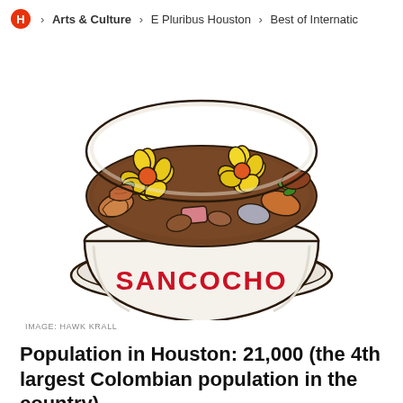H > Arts & Culture > E Pluribus Houston > Best of Internatic
[Figure (illustration): Illustration of a bowl of Sancocho soup on a plate. The bowl is white with 'SANCOCHO' written in bold red letters. The soup inside contains corn cobs with yellow flower-shaped kernels, orange and brown root vegetables, and a brownish broth. The illustration has a hand-drawn, colorful style.]
IMAGE: HAWK KRALL
Population in Houston: 21,000 (the 4th largest Colombian population in the country)